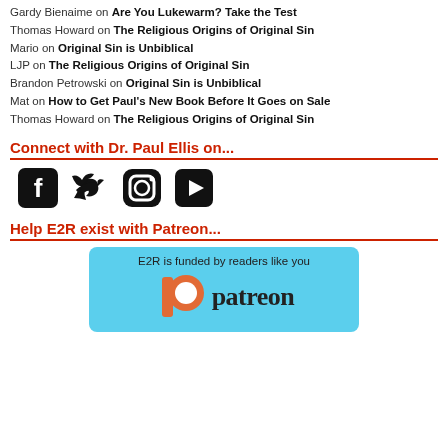Gardy Bienaime on Are You Lukewarm? Take the Test
Thomas Howard on The Religious Origins of Original Sin
Mario on Original Sin is Unbiblical
LJP on The Religious Origins of Original Sin
Brandon Petrowski on Original Sin is Unbiblical
Mat on How to Get Paul's New Book Before It Goes on Sale
Thomas Howard on The Religious Origins of Original Sin
Connect with Dr. Paul Ellis on...
[Figure (infographic): Four social media icons: Facebook, Twitter, Instagram, YouTube — all black]
Help E2R exist with Patreon...
[Figure (logo): Patreon logo on light blue background with text: E2R is funded by readers like you]